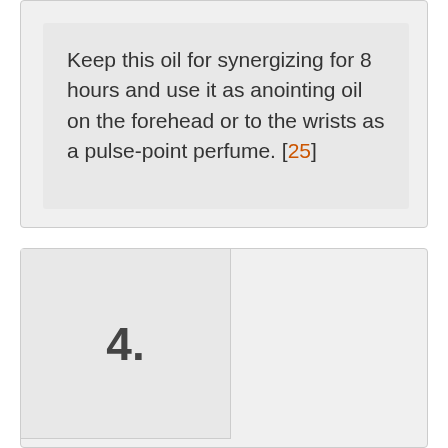Keep this oil for synergizing for 8 hours and use it as anointing oil on the forehead or to the wrists as a pulse-point perfume. [25]
4.
Lavender Essential Oil
Lavender essential oil is steam distilled from flowering tops which are spiked